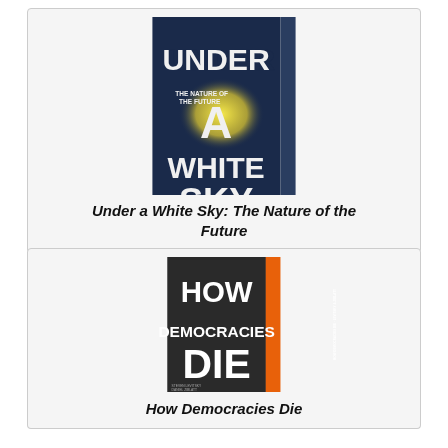[Figure (illustration): Book cover of 'Under a White Sky: The Nature of the Future' by Elizabeth Kolbert. Dark navy background with large bold text and a yellow glowing circle. A vertical side spine visible on the right.]
Under a White Sky: The Nature of the Future
[Figure (photo): Book cover of 'How Democracies Die' — black cover with large white bold text and an orange spine visible on the right side.]
How Democracies Die